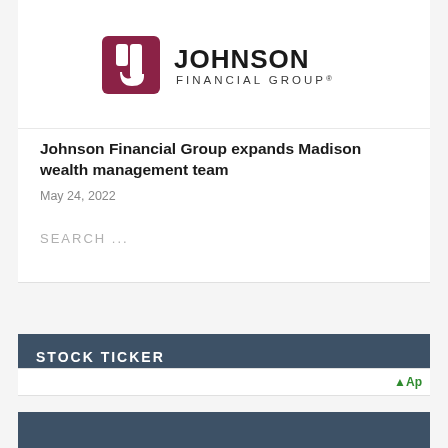[Figure (logo): Johnson Financial Group logo — dark red/maroon square icon with a stylized 'J' shape, followed by 'JOHNSON' in large bold dark letters and 'FINANCIAL GROUP®' in smaller spaced letters below]
Johnson Financial Group expands Madison wealth management team
May 24, 2022
SEARCH ...
STOCK TICKER
↑ Ap